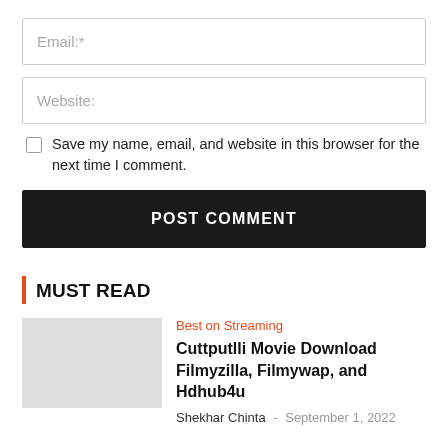Email:*
Website:
Save my name, email, and website in this browser for the next time I comment.
POST COMMENT
MUST READ
Best on Streaming
Cuttputlli Movie Download Filmyzilla, Filmywap, and Hdhub4u
Shekhar Chinta - September 1, 2022